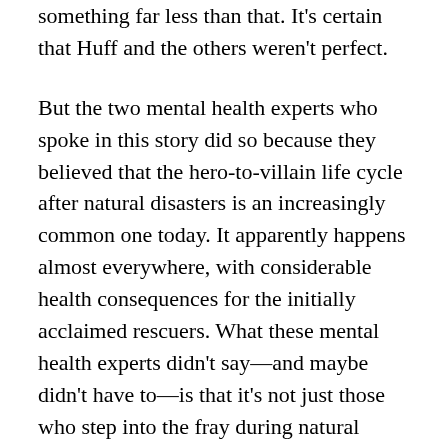something far less than that. It's certain that Huff and the others weren't perfect.
But the two mental health experts who spoke in this story did so because they believed that the hero-to-villain life cycle after natural disasters is an increasingly common one today. It apparently happens almost everywhere, with considerable health consequences for the initially acclaimed rescuers. What these mental health experts didn't say—and maybe didn't have to—is that it's not just those who step into the fray during natural disasters. Those who attempt to provide leadership in any kind of community crisis today are likely to face the